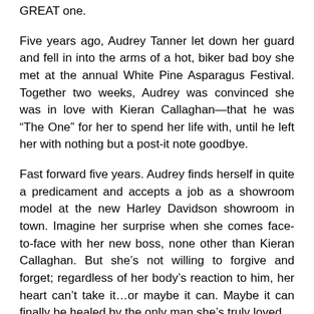GREAT one.
Five years ago, Audrey Tanner let down her guard and fell in into the arms of a hot, biker bad boy she met at the annual White Pine Asparagus Festival. Together two weeks, Audrey was convinced she was in love with Kieran Callaghan—that he was “The One” for her to spend her life with, until he left her with nothing but a post-it note goodbye.
Fast forward five years. Audrey finds herself in quite a predicament and accepts a job as a showroom model at the new Harley Davidson showroom in town. Imagine her surprise when she comes face-to-face with her new boss, none other than Kieran Callaghan. But she’s not willing to forgive and forget; regardless of her body’s reaction to him, her heart can’t take it…or maybe it can. Maybe it can finally be healed by the only man she’s truly loved.